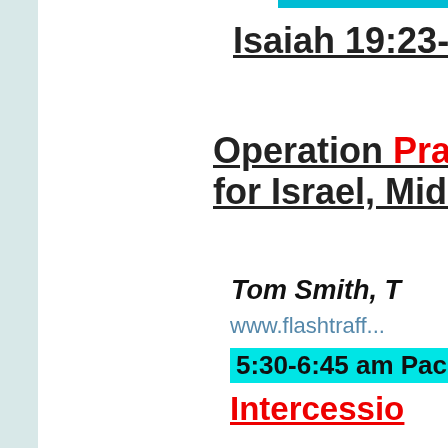Isaiah 19:23-23
Operation Prayer for Israel, Middle East
Tom Smith, T
www.flashtraff...
5:30-6:45 am Pacific
Intercession
Pierre
www.frc.org & w
Calling the Church
www.